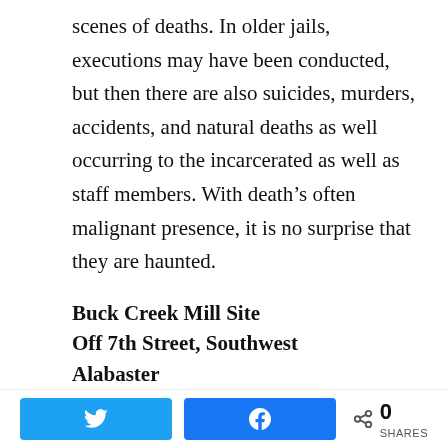scenes of deaths. In older jails, executions may have been conducted, but then there are also suicides, murders, accidents, and natural deaths as well occurring to the incarcerated as well as staff members. With death’s often malignant presence, it is no surprise that they are haunted.
Buck Creek Mill Site
Off 7th Street, Southwest
Alabaster
This site, now owned by the City of Alabaster, was once the site of a large cotton mill and
[Figure (other): Social share bar with Twitter button, Facebook button, share icon, count 0, and SHARES label]